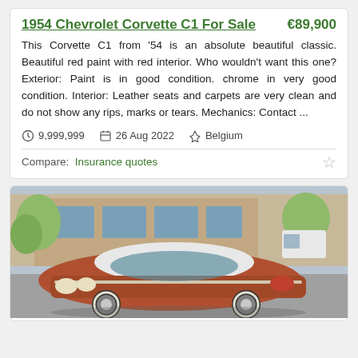1954 Chevrolet Corvette C1 For Sale  €89,900
This Corvette C1 from '54 is an absolute beautiful classic. Beautiful red paint with red interior. Who wouldn't want this one? Exterior: Paint is in good condition. chrome in very good condition. Interior: Leather seats and carpets are very clean and do not show any rips, marks or tears. Mechanics: Contact ...
9,999,999   26 Aug 2022   Belgium
Compare:  Insurance quotes
[Figure (photo): Photograph of a classic red/copper 1960s Chevrolet sedan parked in a lot in front of a building with trees and a white van visible in the background.]